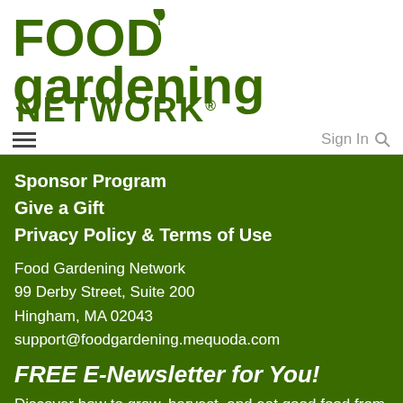[Figure (logo): Food Gardening Network logo in dark green bold text with a small leaf accent above the letter i in gardening]
Sign In 🔍
Sponsor Program
Give a Gift
Privacy Policy & Terms of Use
Food Gardening Network
99 Derby Street, Suite 200
Hingham, MA 02043
support@foodgardening.mequoda.com
FREE E-Newsletter for You!
Discover how to grow, harvest, and eat good food from your own garden—with our FREE e-newsletter, delivered directly to your email inbox.